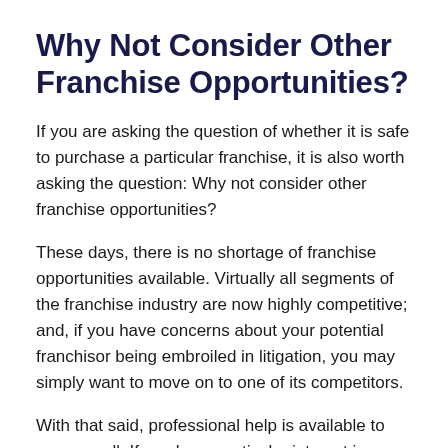Why Not Consider Other Franchise Opportunities?
If you are asking the question of whether it is safe to purchase a particular franchise, it is also worth asking the question: Why not consider other franchise opportunities?
These days, there is no shortage of franchise opportunities available. Virtually all segments of the franchise industry are now highly competitive; and, if you have concerns about your potential franchisor being embroiled in litigation, you may simply want to move on to one of its competitors.
With that said, professional help is available to you as well. If you have particular interest in a certain franchise opportunity but have concerns about the